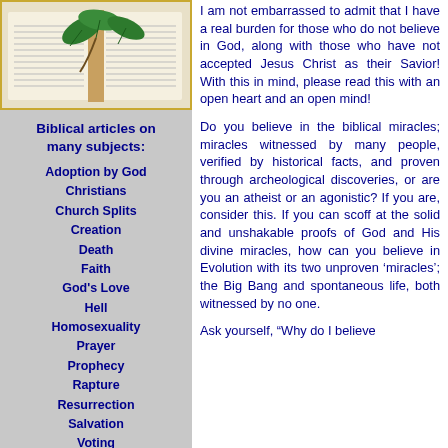[Figure (photo): Open Bible with green leaves on top]
Biblical articles on many subjects:
Adoption by God
Christians
Church Splits
Creation
Death
Faith
God's Love
Hell
Homosexuality
Prayer
Prophecy
Rapture
Resurrection
Salvation
Voting
Worry
And more...
I am not embarrassed to admit that I have a real burden for those who do not believe in God, along with those who have not accepted Jesus Christ as their Savior! With this in mind, please read this with an open heart and an open mind!
Do you believe in the biblical miracles; miracles witnessed by many people, verified by historical facts, and proven through archeological discoveries, or are you an atheist or an agonistic? If you are, consider this. If you can scoff at the solid and unshakable proofs of God and His divine miracles, how can you believe in Evolution with its two unproven ‘miracles’; the Big Bang and spontaneous life, both witnessed by no one.
Ask yourself, “Why do I believe